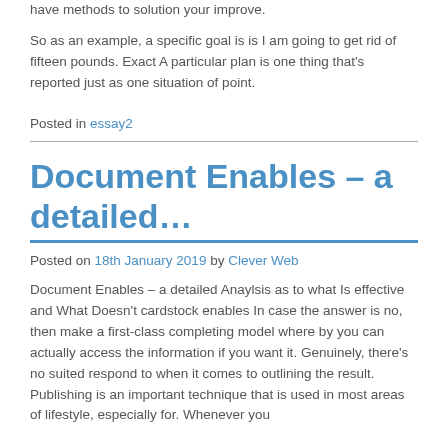have methods to solution your improve.
So as an example, a specific goal is is I am going to get rid of fifteen pounds. Exact A particular plan is one thing that's reported just as one situation of point.
Posted in essay2
Document Enables – a detailed…
Posted on 18th January 2019 by Clever Web
Document Enables – a detailed Anaylsis as to what Is effective and What Doesn't cardstock enables In case the answer is no, then make a first-class completing model where by you can actually access the information if you want it. Genuinely, there's no suited respond to when it comes to outlining the result. Publishing is an important technique that is used in most areas of lifestyle, especially for. Whenever you